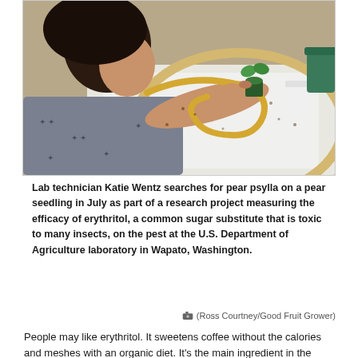[Figure (photo): A lab technician leaning over a white surface, examining a small plant seedling held in one hand while using a tool or tube in the other hand. A circular frame/ring is visible. Lab equipment and small plant pots in the background.]
Lab technician Katie Wentz searches for pear psylla on a pear seedling in July as part of a research project measuring the efficacy of erythritol, a common sugar substitute that is toxic to many insects, on the pest at the U.S. Department of Agriculture laboratory in Wapato, Washington.
(Ross Courtney/Good Fruit Grower)
People may like erythritol. It sweetens coffee without the calories and meshes with an organic diet. It's the main ingredient in the